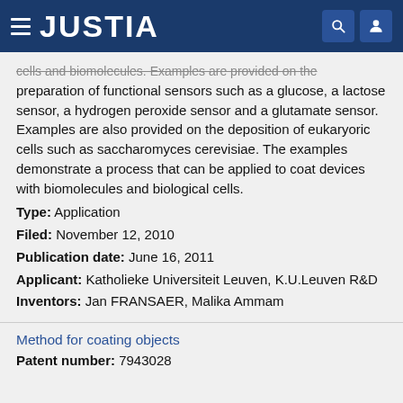JUSTIA
cells and biomolecules. Examples are provided on the preparation of functional sensors such as a glucose, a lactose sensor, a hydrogen peroxide sensor and a glutamate sensor. Examples are also provided on the deposition of eukaryoric cells such as saccharomyces cerevisiae. The examples demonstrate a process that can be applied to coat devices with biomolecules and biological cells.
Type: Application
Filed: November 12, 2010
Publication date: June 16, 2011
Applicant: Katholieke Universiteit Leuven, K.U.Leuven R&D
Inventors: Jan FRANSAER, Malika Ammam
Method for coating objects
Patent number: 7943028